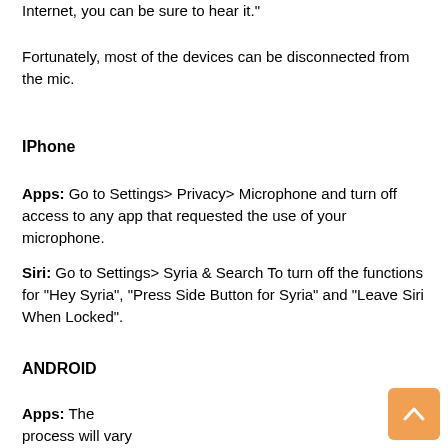Internet, you can be sure to hear it."
Fortunately, most of the devices can be disconnected from the mic.
IPhone
Apps: Go to Settings> Privacy> Microphone and turn off access to any app that requested the use of your microphone.
Siri: Go to Settings> Syria & Search To turn off the functions for "Hey Syria", "Press Side Button for Syria" and "Leave Siri When Locked".
ANDROID
Apps: The process will vary according to the manufacturer. Try looking at app permissions on the apps & notifications screen. And again, turn off any microphone access that you don't want to record.